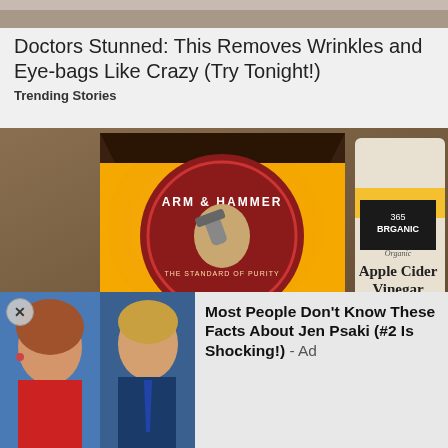[Figure (photo): Top cropped photo strip showing skin/face texture]
Doctors Stunned: This Removes Wrinkles and Eye-bags Like Crazy (Try Tonight!)
Trending Stories
[Figure (photo): Photo of Arm & Hammer Pure Baking Soda box and 365 Organic Apple Cider Vinegar bottle on a shelf]
[Figure (photo): Ad image showing faces of Jen Psaki and Donald Trump side by side]
Most People Don't Know These Facts About Jen Psaki (#2 Is Shocking!) - Ad